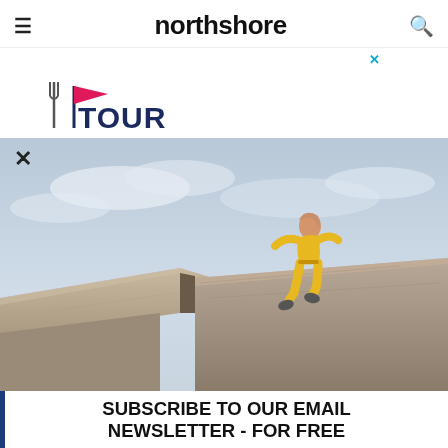northshore
[Figure (logo): Tour logo with fork and flag icon and partial text TOUR]
[Figure (photo): Woman in yellow outfit running/jumping on rocky granite outcrop against overcast sky, with a modal close X button in top left]
SUBSCRIBE TO OUR EMAIL NEWSLETTER - FOR FREE